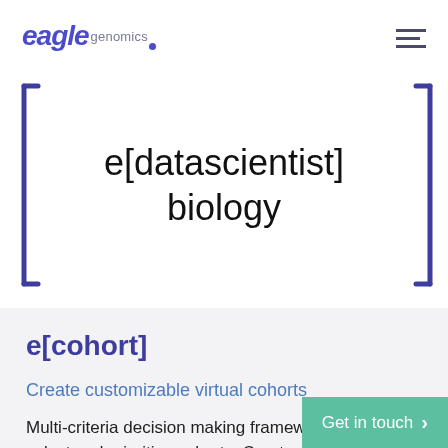eagle genomics
e[datascientist] biology
e[cohort]
Create customizable virtual cohorts
Multi-criteria decision making framework to define, select and prioritize cohorts. Create virtual cohorts
Get in touch >